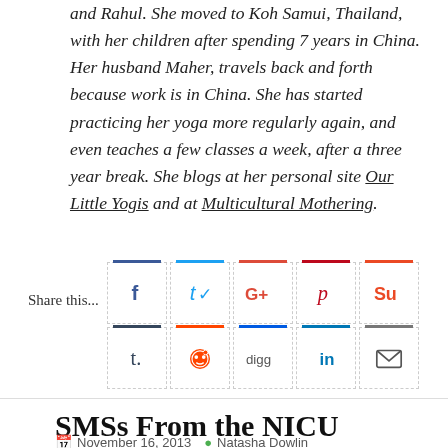and Rahul. She moved to Koh Samui, Thailand, with her children after spending 7 years in China. Her husband Maher, travels back and forth because work is in China. She has started practicing her yoga more regularly again, and even teaches a few classes a week, after a three year break. She blogs at her personal site Our Little Yogis and at Multicultural Mothering.
[Figure (infographic): Share this... buttons row with social media icons: Facebook, Twitter, Google+, Pinterest, StumbleUpon (top row), Tumblr, Reddit, Digg, LinkedIn, Email (bottom row)]
SMSs From the NICU
November 16, 2013  Natasha Dowlin...